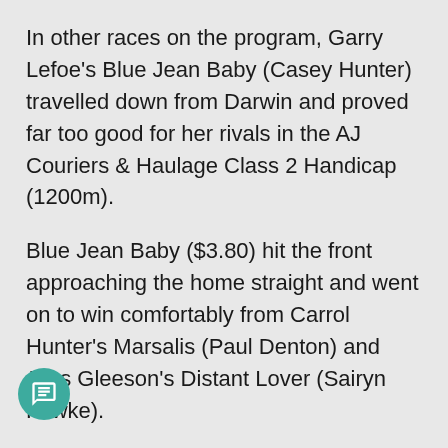In other races on the program, Garry Lefoe's Blue Jean Baby (Casey Hunter) travelled down from Darwin and proved far too good for her rivals in the AJ Couriers & Haulage Class 2 Handicap (1200m).
Blue Jean Baby ($3.80) hit the front approaching the home straight and went on to win comfortably from Carrol Hunter's Marsalis (Paul Denton) and Jess Gleeson's Distant Lover (Sairyn Fawke).
Jess Gleeson's Dataset (Jessie Philpot) hasn't been in the best of form, but returned the winner's circle for the first time since August last year with success in the Ronin Security Technologies 0-64 Handicap (1450m).
Dataset hit the front when they jumped and was never [button obscures text]ed before downing Phil Cole's in-form Sedona (Wayne Davis) by two lengths with Kym Healy's Bolt I Am (Sairyn